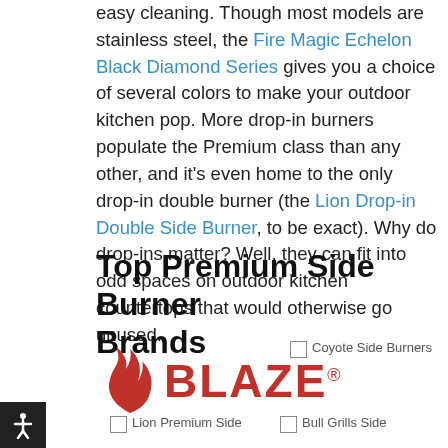easy cleaning. Though most models are stainless steel, the Fire Magic Echelon Black Diamond Series gives you a choice of several colors to make your outdoor kitchen pop. More drop-in burners populate the Premium class than any other, and it's even home to the only drop-in double burner (the Lion Drop-in Double Side Burner, to be exact). Why do drop-ins matter? Well, they can fit into odd spaces on outdoor kitchen countertops that would otherwise go unused.
Top Premium Side Burner Brands
[Figure (logo): Blaze brand logo in red with flame icon]
[Figure (photo): Coyote Side Burners image placeholder]
[Figure (photo): Lion Premium Side image placeholder]
[Figure (photo): Bull Grills Side image placeholder]